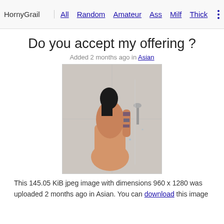HornyGrail  All  Random  Amateur  Ass  Milf  Thick
Do you accept my offering ?
Added 2 months ago in Asian
[Figure (photo): A person with tattoos showering, viewed from behind, in a glass shower enclosure with marble-style tiles.]
This 145.05 KiB jpeg image with dimensions 960 x 1280 was uploaded 2 months ago in Asian. You can download this image